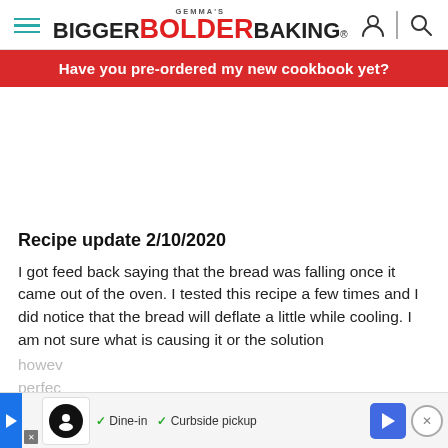Gemma's BIGGER BOLDER BAKING®
Have you pre-ordered my new cookbook yet?
Recipe update 2/10/2020
I got feed back saying that the bread was falling once it came out of the oven. I tested this recipe a few times and I did notice that the bread will deflate a little while cooling. I am not sure what is causing it or the solution howev... perfec...
[Figure (screenshot): Advertisement bar at bottom: play button, food delivery app icon, checkmark Dine-in, checkmark Curbside pickup, blue arrow navigation button, close (X) button]